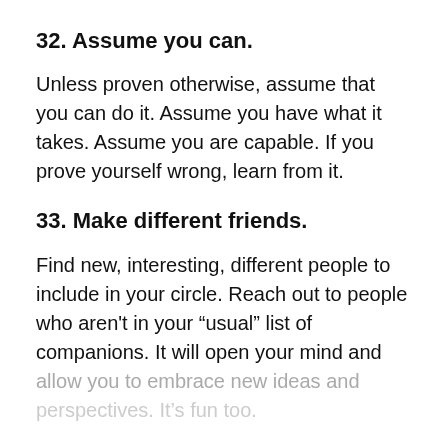32. Assume you can.
Unless proven otherwise, assume that you can do it. Assume you have what it takes. Assume you are capable. If you prove yourself wrong, learn from it.
33. Make different friends.
Find new, interesting, different people to include in your circle. Reach out to people who aren’t in your “usual” list of companions. It will open your mind and allow you to embrace new ideas and perspectives. It’s fun too.